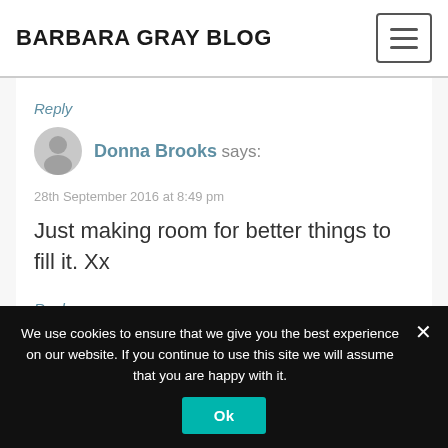BARBARA GRAY BLOG
Reply
Donna Brooks says:
28th September 2016 at 8:49 pm
Just making room for better things to fill it. Xx
Reply
We use cookies to ensure that we give you the best experience on our website. If you continue to use this site we will assume that you are happy with it.
Ok